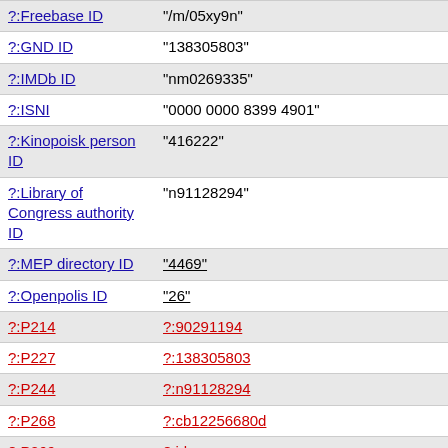| Property | Value |
| --- | --- |
| ?:Freebase ID | "/m/05xy9n" |
| ?:GND ID | "138305803" |
| ?:IMDb ID | "nm0269335" |
| ?:ISNI | "0000 0000 8399 4901" |
| ?:Kinopoisk person ID | "416222" |
| ?:Library of Congress authority ID | "n91128294" |
| ?:MEP directory ID | "4469" |
| ?:Openpolis ID | "26" |
| ?:P214 | ?:90291194 |
| ?:P227 | ?:138305803 |
| ?:P244 | ?:n91128294 |
| ?:P268 | ?:cb12256680d |
| ?:P269 | ?:id |
| ?:P646 | ?:05xy9n |
| ?:PACE member ID | "3176" |
| ?:PORT person ID | "189550" |
| ?:SBN ID | "IT\ICCU\RAVV\060696" |
| ?:SUDOC | "..." |